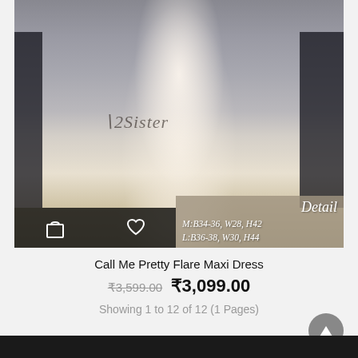[Figure (photo): A woman wearing a white lace flare maxi dress photographed from behind, with a '2Sister' brand watermark. Overlay shows size details: M:B34-36, W28, H42 / L:B36-38, W30, H44. Dark action bar with bag and heart icons at bottom of image.]
Call Me Pretty Flare Maxi Dress
₹3,599.00 ₹3,099.00
Showing 1 to 12 of 12 (1 Pages)